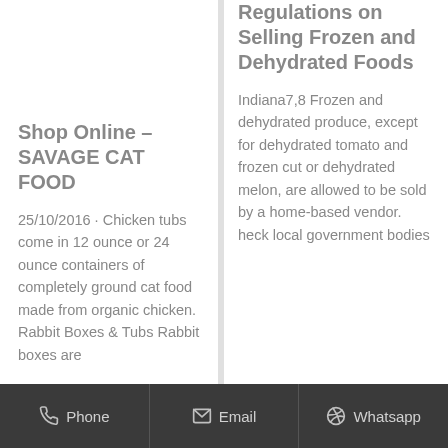Shop Online – SAVAGE CAT FOOD
25/10/2016 · Chicken tubs come in 12 ounce or 24 ounce containers of completely ground cat food made from organic chicken. Rabbit Boxes & Tubs Rabbit boxes are
Regulations on Selling Frozen and Dehydrated Foods
Indiana7,8 Frozen and dehydrated produce, except for dehydrated tomato and frozen cut or dehydrated melon, are allowed to be sold by a home-based vendor. heck local government bodies
Phone  Email  Whatsapp